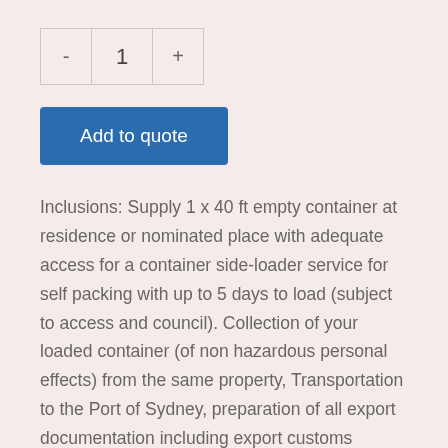- 1 +
Add to quote
Inclusions: Supply 1 x 40 ft empty container at residence or nominated place with adequate access for a container side-loader service for self packing with up to 5 days to load (subject to access and council). Collection of your loaded container (of non hazardous personal effects) from the same property, Transportation to the Port of Sydney, preparation of all export documentation including export customs clearance formalities, sea freight to Port of Tauranga.
Exclusions: Customs fees/ duties/ taxes if applicable